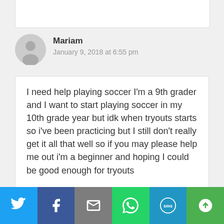Mariam
January 9, 2018 at 6:55 pm
I need help playing soccer I'm a 9th grader and I want to start playing soccer in my 10th grade year but idk when tryouts starts so i've been practicing but I still don't really get it all that well so if you may please help me out i'm a beginner and hoping I could be good enough for tryouts
[Figure (other): Social sharing bar with Twitter, Facebook, Email, WhatsApp, SMS, and More buttons]